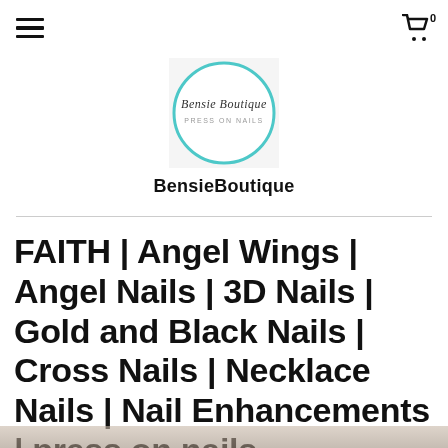BensieBoutique — navigation header with hamburger menu and cart icon (badge: 0)
[Figure (logo): BensieBoutique Press On Nails logo: teal circle outline with cursive brand name inside]
BensieBoutique
FAITH | Angel Wings | Angel Nails | 3D Nails | Gold and Black Nails | Cross Nails | Necklace Nails | Nail Enhancements | press on nails